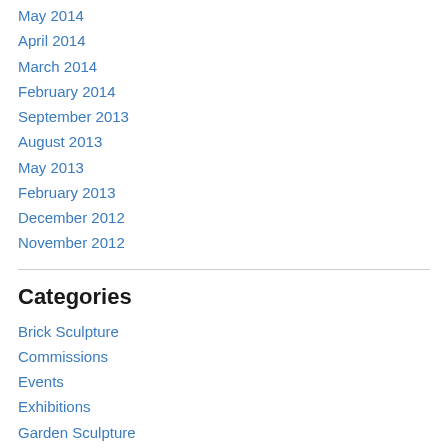May 2014
April 2014
March 2014
February 2014
September 2013
August 2013
May 2013
February 2013
December 2012
November 2012
Categories
Brick Sculpture
Commissions
Events
Exhibitions
Garden Sculpture
How to…step by step